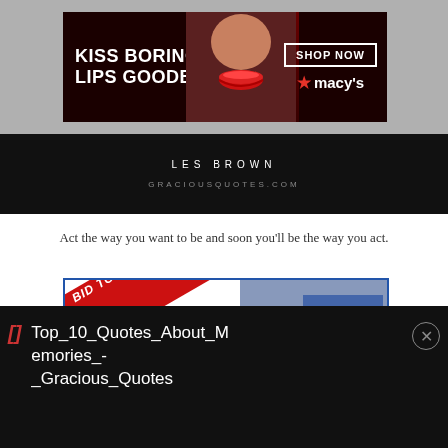[Figure (screenshot): Macy's advertisement banner: 'KISS BORING LIPS GOODBYE' with red lips photo and 'SHOP NOW macy's' button on dark red background]
[Figure (screenshot): Quote attribution section on black background: 'LES BROWN' and 'GRACIOUSQUOTES.COM']
Act the way you want to be and soon you'll be the way you act.
[Figure (screenshot): Advertisement: 'BID TO WIN! ZOOM w/ BEST-SELLING AUTHOR CHRISTOPHER' with Eragon book cover image]
Top_10_Quotes_About_Memories_-_Gracious_Quotes